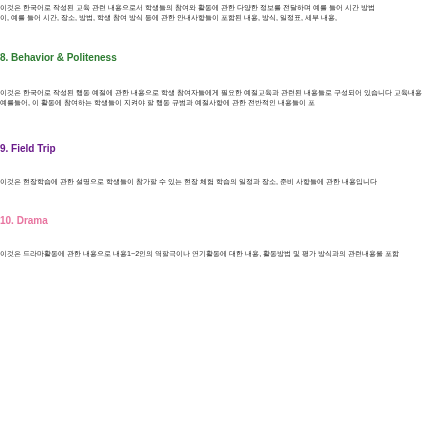이것은 한국어로 작성된 교육 관련 내용으로서 학생들의 참여와 활동에 관한 다양한 정보를, 예를 들어 시간, 장소, 방법 등에 대한 안내사항들이 포함된 내용, 방식, 일정표, 세부 내용,
8. Behavior & Politeness
이것은 한국어로 작성된 행동 예절에 관한 내용으로 학생 참여자들에게 필요한 예절교육과 관련된 내용입니다. 예를 들어, 이 활동에 참여하는 학생들이 지켜야 할 행동 규범과 예절사항에 관한 전반적인 내용들이 포
9. Field Trip
이것은 현장학습에 관한 설명으로 학생들이 참가할 수 있는 현장 체험 학습의 일정과 장소, 준비 사항들에
10. Drama
이것은 드라마활동에 관한 내용1~2인의 역할극이나 연기활동에 대한 내용, 활동방법 및 평가 방식과의